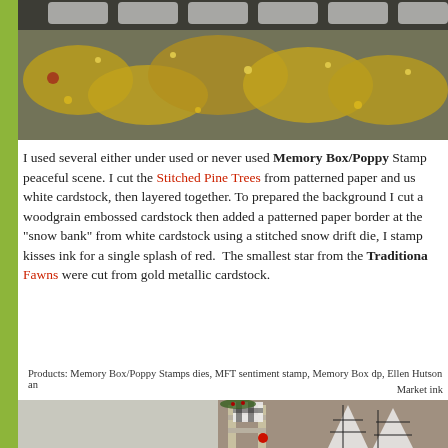[Figure (photo): Close-up of gold glittery/sequined holiday decoration on a teal/grey background]
I used several either under used or never used Memory Box/Poppy Stamps dies to create a peaceful scene. I cut the Stitched Pine Trees from patterned paper and used on the white cardstock, then layered together. To prepared the background I cut a woodgrain embossed cardstock then added a patterned paper border at the "snow bank" from white cardstock using a stitched snow drift die, I stamped kisses ink for a single splash of red. The smallest star from the Traditional Fawns were cut from gold metallic cardstock.
Products: Memory Box/Poppy Stamps dies, MFT sentiment stamp, Memory Box dp, Ellen Hutson and Market ink
[Figure (photo): Holiday scene with a wooden ladder decorated with black and white buffalo check bow, greenery, red berries, and a red cardinal bird; beside it are black and white plaid cone-shaped Christmas trees]